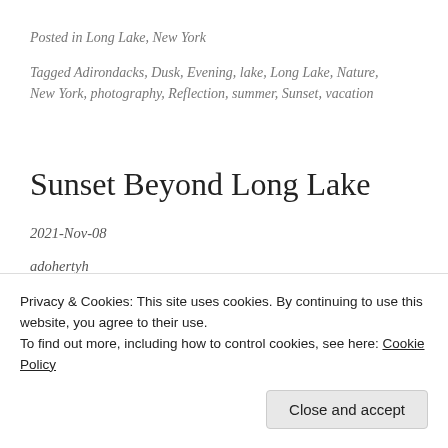Posted in Long Lake, New York
Tagged Adirondacks, Dusk, Evening, lake, Long Lake, Nature, New York, photography, Reflection, summer, Sunset, vacation
Sunset Beyond Long Lake
2021-Nov-08
adohertyh
Leave a comment
Privacy & Cookies: This site uses cookies. By continuing to use this website, you agree to their use.
To find out more, including how to control cookies, see here: Cookie Policy